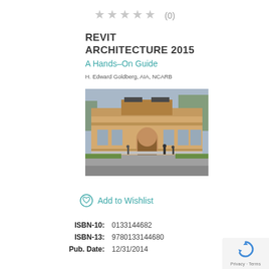★★★★★ (0)
REVIT ARCHITECTURE 2015 A Hands–On Guide
H. Edward Goldberg, AIA, NCARB
[Figure (photo): Book cover rendering of a classical-style building with arched entrance, beige facade, and landscaping. People walking in front.]
Add to Wishlist
| Label | Value |
| --- | --- |
| ISBN-10: | 0133144682 |
| ISBN-13: | 9780133144680 |
| Pub. Date: | 12/31/2014 |